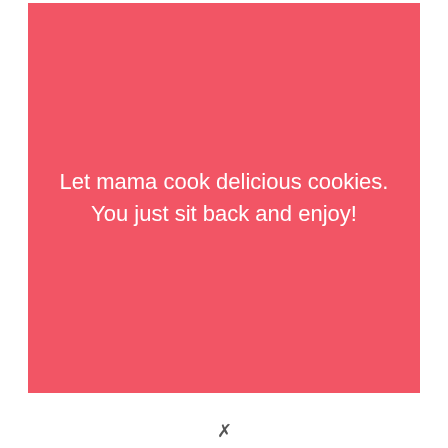Let mama cook delicious cookies. You just sit back and enjoy!